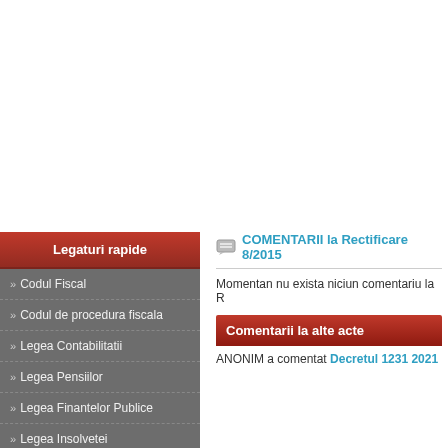Legaturi rapide
Codul Fiscal
Codul de procedura fiscala
Legea Contabilitatii
Legea Pensiilor
Legea Finantelor Publice
Legea Insolvetei
Codul Civil
Codul Muncii
Codul Penal
COMENTARII la Rectificare 8/2015
Momentan nu exista niciun comentariu la R
Comentarii la alte acte
ANONIM a comentat Decretul 1231 2021